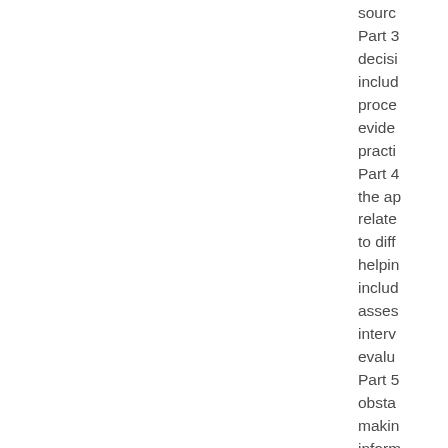source Part 3 decisi includ proce evide practi Part 4 the ap relate to diff helpin includ asses interv evalu Part 5 obsta makin inform decisi how t encou lifelon